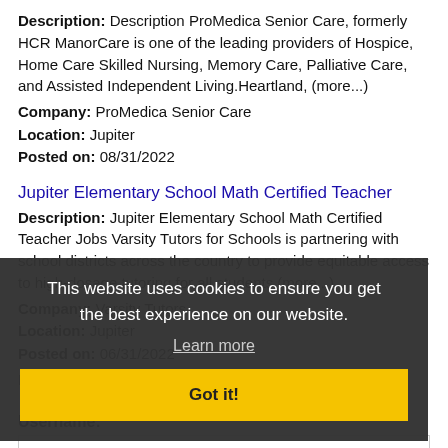Description: Description ProMedica Senior Care, formerly HCR ManorCare is one of the leading providers of Hospice, Home Care Skilled Nursing, Memory Care, Palliative Care, and Assisted Independent Living.Heartland, (more...)
Company: ProMedica Senior Care
Location: Jupiter
Posted on: 08/31/2022
Jupiter Elementary School Math Certified Teacher
Description: Jupiter Elementary School Math Certified Teacher Jobs Varsity Tutors for Schools is partnering with school districts across the country to provide equitable access to high-dosage tutoring for all students (more...)
Company: Varsity Tutors
Location: Jupiter
Posted on: 06/31/2022
This website uses cookies to ensure you get the best experience on our website.
Learn more
Got it!
Loading more jobs...
Log In or Create An Account
Username: